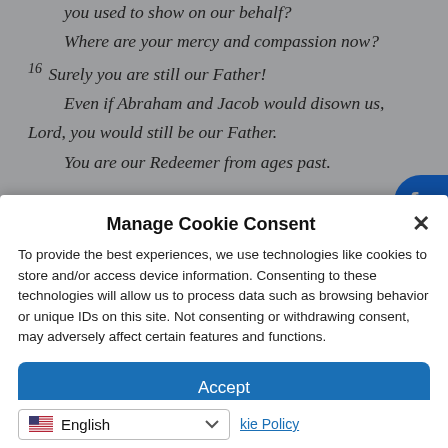you used to show on our behalf?
Where are your mercy and compassion now?
16 Surely you are still our Father!
Even if Abraham and Jacob would disown us,
Lord, you would still be our Father.
You are our Redeemer from ages past.
Manage Cookie Consent
To provide the best experiences, we use technologies like cookies to store and/or access device information. Consenting to these technologies will allow us to process data such as browsing behavior or unique IDs on this site. Not consenting or withdrawing consent, may adversely affect certain features and functions.
Accept
English
kie Policy